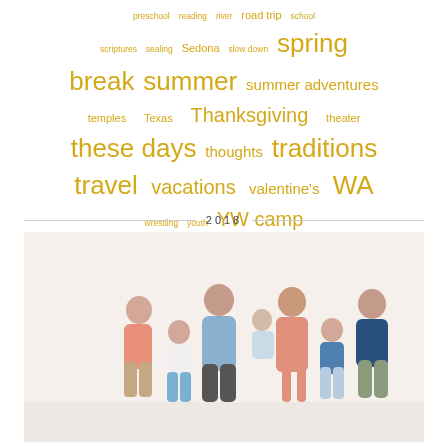[Figure (infographic): Tag cloud of blog/journal categories in gold/yellow tones with varying font sizes. Tags include: preschool, reading, river, road trip, school, scriptures, sealing, Sedona, slow down, spring break, summer, summer adventures, temples, Texas, Thanksgiving, theater, these days, thoughts, traditions, travel, vacations, valentine's, WA, wrestling, youth, YW camp]
2018
[Figure (photo): Family portrait of a group of 7 people — parents and children — posing together against a white/light background. Adults and children dressed in casual pastel and blue clothing.]